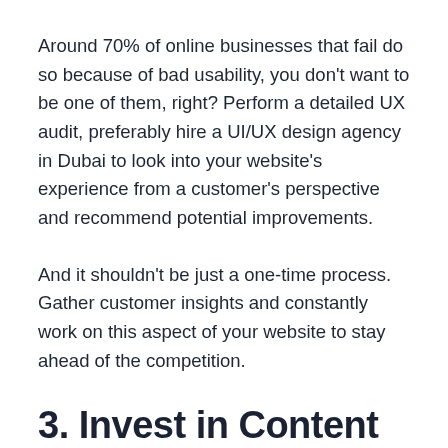Around 70% of online businesses that fail do so because of bad usability, you don't want to be one of them, right? Perform a detailed UX audit, preferably hire a UI/UX design agency in Dubai to look into your website's experience from a customer's perspective and recommend potential improvements.
And it shouldn't be just a one-time process. Gather customer insights and constantly work on this aspect of your website to stay ahead of the competition.
3. Invest in Content Marketing